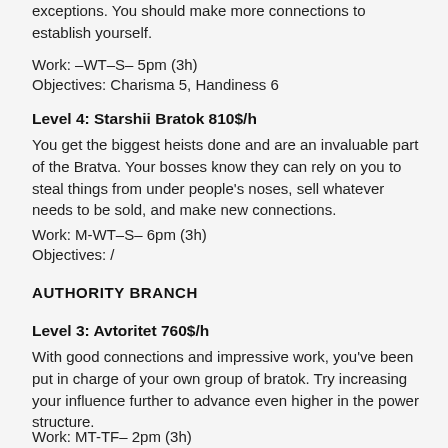exceptions. You should make more connections to establish yourself.
Work: –WT–S– 5pm (3h)
Objectives: Charisma 5, Handiness 6
Level 4: Starshii Bratok 810$/h
You get the biggest heists done and are an invaluable part of the Bratva. Your bosses know they can rely on you to steal things from under people's noses, sell whatever needs to be sold, and make new connections.
Work: M-WT–S– 6pm (3h)
Objectives: /
AUTHORITY BRANCH
Level 3: Avtoritet 760$/h
With good connections and impressive work, you've been put in charge of your own group of bratok. Try increasing your influence further to advance even higher in the power structure.
Work: MT-TF– 2pm (3h)